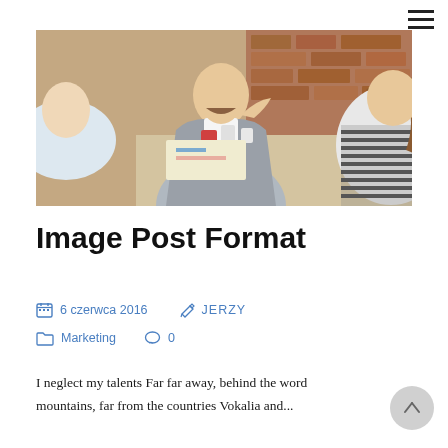[Figure (photo): Business meeting photo: three people seated at a table. A man in a gray blazer gestures while speaking, a woman with striped top is on the right, a man in white shirt has his back to camera on the left. Coffee cups and glasses on the table, brick wall in background.]
Image Post Format
6 czerwca 2016   JERZY   Marketing   0
I neglect my talents Far far away, behind the word mountains, far from the countries Vokalia and...